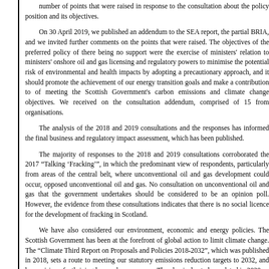number of points that were raised in response to the consultation about the policy position and its objectives.
On 30 April 2019, we published an addendum to the SEA report, the partial BRIA, and we invited further comments on the points that were raised. The objectives of the preferred policy of there being no support were the exercise of ministers' relation to ministers' onshore oil and gas licensing and regulatory powers to minimise the potential risk of environmental and health impacts by adopting a precautionary approach, and it should promote the achievement of our energy transition goals and make a contribution to of meeting the Scottish Government's carbon emissions and climate change objectives. We received on the consultation addendum, comprised of 15 from organisations.
The analysis of the 2018 and 2019 consultations and the responses has informed the final business and regulatory impact assessment, which has been published.
The majority of responses to the 2018 and 2019 consultations corroborated the 2017 "Talking 'Fracking'", in which the predominant view of respondents, particularly from areas of the central belt, where unconventional oil and gas development could occur, opposed unconventional oil and gas. No consultation on unconventional oil and gas that the government undertakes should be considered to be an opinion poll. However, the evidence from these consultations indicates that there is no social licence for the development of fracking in Scotland.
We have also considered our environment, economic and energy policies. The Scottish Government has been at the forefront of global action to limit climate change. The "Climate Third Report on Proposals and Policies 2018-2032", which was published in 2018, sets a route to meeting our statutory emissions reduction targets to 2032, and has a vision of a thriving low-carbon economy. The plan is due to be updated in 2020.
Last week, Parliament passed the Climate Change (Emissions) Bill, which contains the most ambitious statutory targets of any country in the world, established by the intergovernmental Panel on Climate Ch...